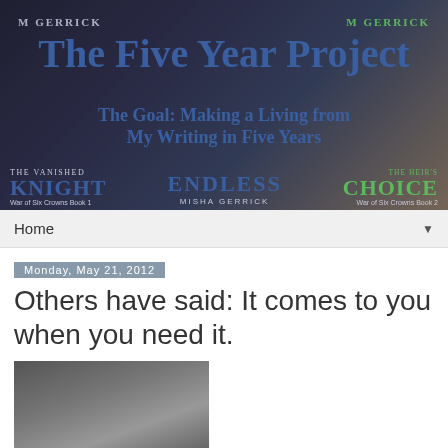[Figure (illustration): Blog header banner for 'The Five Year Project' by M Gerrick. Contains three book covers (The Vanished Knight, Endless, The Heir's Choice) with large text overlay showing blog title and tagline.]
Home ▼
Monday, May 21, 2012
Others have said: It comes to you when you need it.
[Figure (photo): Black and white photo of a person, partially visible at bottom of page.]